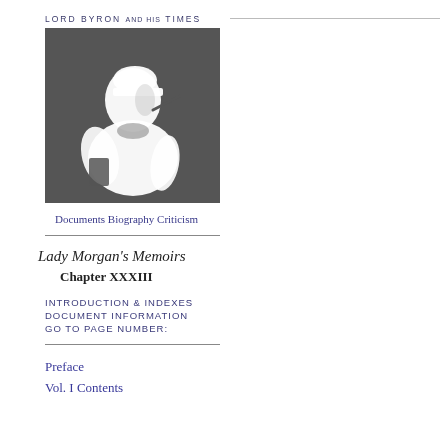LORD BYRON AND HIS TIMES
[Figure (illustration): Silhouette of a figure (Lord Byron) in profile against a dark grey background, showing a person with a hat and cape-like clothing]
Documents Biography Criticism
Lady Morgan's Memoirs
Chapter XXXIII
INTRODUCTION & INDEXES
DOCUMENT INFORMATION
GO TO PAGE NUMBER:
Preface
Vol. I Contents
In the year 1846 the Wild Irish G